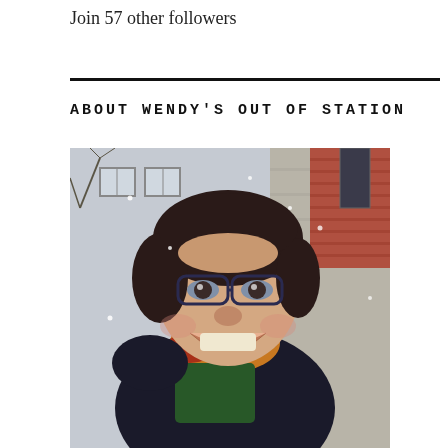Join 57 other followers
ABOUT WENDY'S OUT OF STATION
[Figure (photo): A smiling woman with dark hair and glasses, wearing a dark coat and orange/green patterned scarf, photographed outdoors in front of a stone brick building, appears to be snowing lightly.]